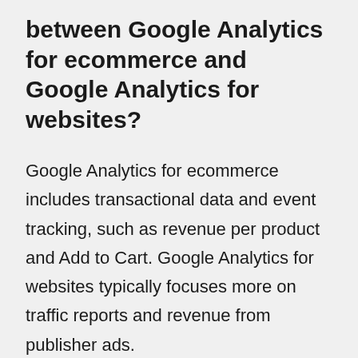between Google Analytics for ecommerce and Google Analytics for websites?
Google Analytics for ecommerce includes transactional data and event tracking, such as revenue per product and Add to Cart. Google Analytics for websites typically focuses more on traffic reports and revenue from publisher ads.
How does Google Analytics track ecommerce